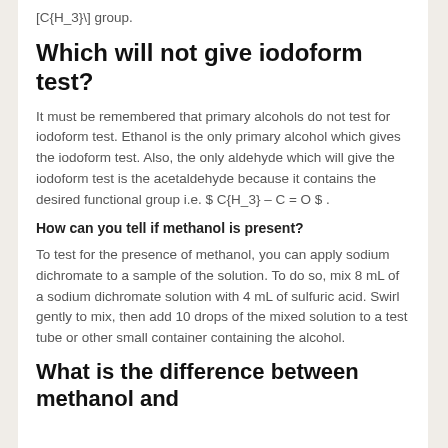[C{H_3}\] group.
Which will not give iodoform test?
It must be remembered that primary alcohols do not test for iodoform test. Ethanol is the only primary alcohol which gives the iodoform test. Also, the only aldehyde which will give the iodoform test is the acetaldehyde because it contains the desired functional group i.e. $ C{H_3} – C = O $ .
How can you tell if methanol is present?
To test for the presence of methanol, you can apply sodium dichromate to a sample of the solution. To do so, mix 8 mL of a sodium dichromate solution with 4 mL of sulfuric acid. Swirl gently to mix, then add 10 drops of the mixed solution to a test tube or other small container containing the alcohol.
What is the difference between methanol and